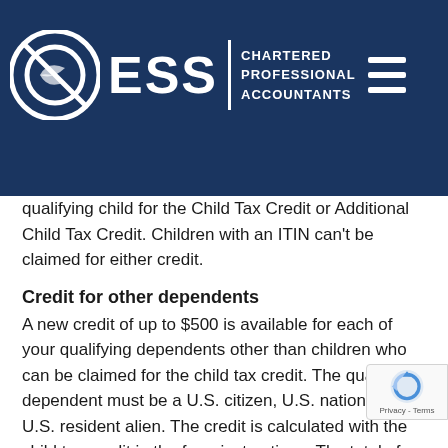Social Security number required for child tax credit. Beginning with Tax Year 2018, a child must have a Social Security Number issued by the Social Security Administration due before the taxpayer's tax return (including extensions) to be claimed as a qualifying child for the Child Tax Credit or Additional Child Tax Credit. Children with an ITIN can't be claimed for either credit.
[Figure (logo): ESS Chartered Professional Accountants logo with circular icon on dark blue banner background]
Credit for other dependents
A new credit of up to $500 is available for each of your qualifying dependents other than children who can be claimed for the child tax credit. The qualifying dependent must be a U.S. citizen, U.S. national, or U.S. resident alien. The credit is calculated with the child tax credit in the form instructions. The total of both credits is subject to a single phase out when adjusted gross income exceeds $200,000, or